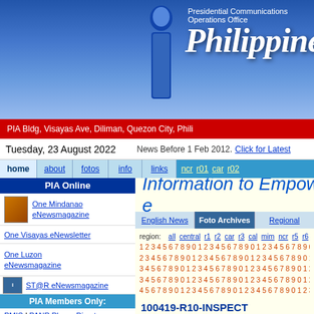Presidential Communications Operations Office — Philippine Information Agency
PIA Bldg, Visayas Ave, Diliman, Quezon City, Philippines
Tuesday, 23 August 2022 | News Before 1 Feb 2012. Click for Latest
home | about | fotos | info | links | ncr | r01 | car | r02
PIA Online
One Mindanao eNewsmagazine
One Visayas eNewsletter
One Luzon eNewsmagazine
ST@R eNewsmagazine
PIA Members Only:
PMIS | PANP Phone Directory
PIAEA Corner:
Application | View PIAEA Site
Special News Editions:
English Tagalog Cebuano Ilocano Waray Hiligaynon Pangasinan Other
PIA Specials:
NEW! Cabinet Officials
Information to Empower
English News | Foto Archives | Regional
region: all central r1 r2 car r3 cal mim ncr r5 r6 1 2 3 4 5 6 7 8 9 0 1 2 3 4 5 6 7 8 9 0 1 2 3 4 5 6 7 8 9 0 1 2 3 ...
100419-R10-INSPECT